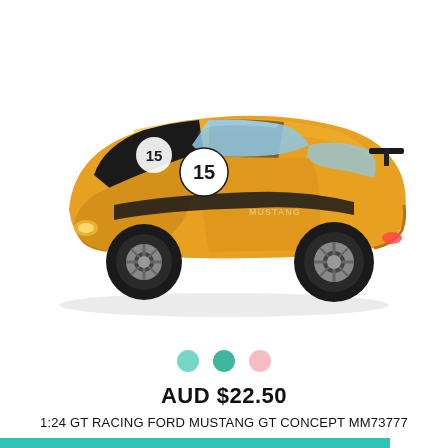[Figure (photo): Yellow and black Ford Mustang GT racing die-cast model car, number 15, shown at angle on white background]
[Figure (other): Three colored circle dots used as image carousel indicators: teal, dark teal, and light pink]
AUD $22.50
1:24 GT RACING FORD MUSTANG GT CONCEPT MM73777
ADD TO CART
Min: 2